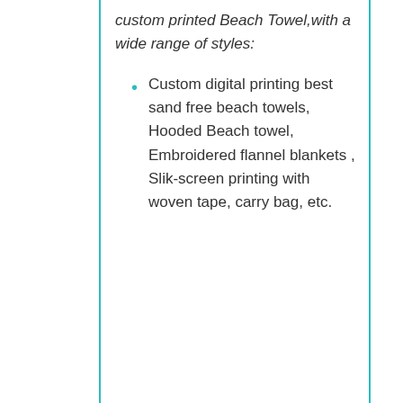custom printed Beach Towel,with a wide range of styles:
Custom digital printing best sand free beach towels, Hooded Beach towel, Embroidered flannel blankets , Slik-screen printing with woven tape, carry bag, etc.